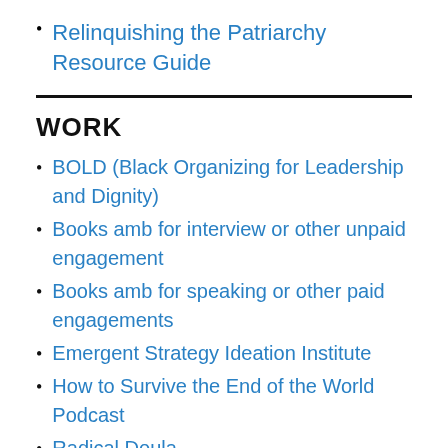Relinquishing the Patriarchy Resource Guide
WORK
BOLD (Black Organizing for Leadership and Dignity)
Books amb for interview or other unpaid engagement
Books amb for speaking or other paid engagements
Emergent Strategy Ideation Institute
How to Survive the End of the World Podcast
Radical Doula
RSS my blog